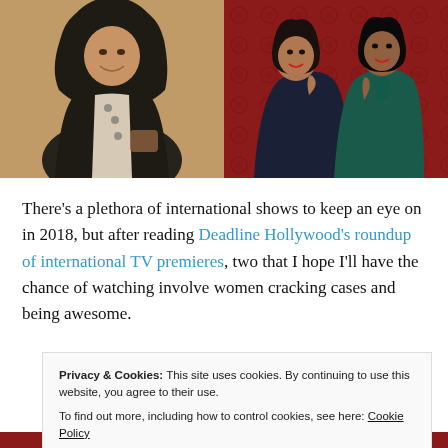[Figure (photo): Two side-by-side photos. Left: A woman wearing a black hijab and white top with decorative pins, smiling, in a warm indoor setting. Right: Two women posing back-to-back, one in a dark navy coat and one in a teal/green coat, against a red patterned background.]
There’s a plethora of international shows to keep an eye on in 2018, but after reading Deadline Hollywood’s roundup of international TV premieres, two that I hope I’ll have the chance of watching involve women cracking cases and being awesome.
Privacy & Cookies: This site uses cookies. By continuing to use this website, you agree to their use.
To find out more, including how to control cookies, see here: Cookie Policy
Close and accept